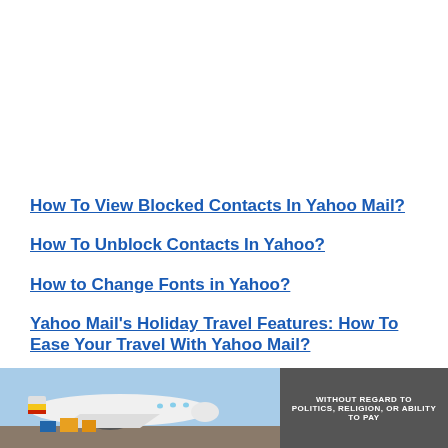How To View Blocked Contacts In Yahoo Mail?
How To Unblock Contacts In Yahoo?
How to Change Fonts in Yahoo?
Yahoo Mail's Holiday Travel Features: How To Ease Your Travel With Yahoo Mail?
[Figure (photo): Bottom banner showing an airplane being loaded with cargo, with a dark overlay section containing text 'WITHOUT REGARD TO POLITICS, RELIGION, OR ABILITY TO PAY']